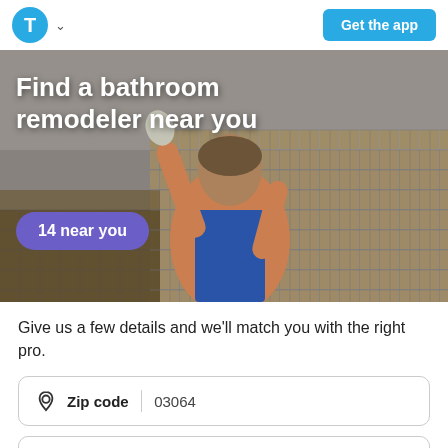[Figure (logo): Thumbtack app logo: blue circle with white T letter, followed by chevron dropdown arrow]
Get the app
[Figure (photo): A worker wearing an orange shirt and blue apron applying mosaic tile grout to a wall, reaching up with gloved hands. The wall is covered in small square mosaic tiles in beige and brown tones.]
Find a bathroom remodeler near you
14 near you
Give us a few details and we'll match you with the right pro.
Zip code   03064